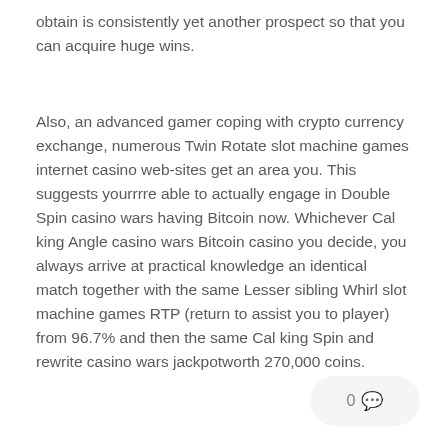obtain is consistently yet another prospect so that you can acquire huge wins.
Also, an advanced gamer coping with crypto currency exchange, numerous Twin Rotate slot machine games internet casino web-sites get an area you. This suggests yourrrre able to actually engage in Double Spin casino wars having Bitcoin now. Whichever Cal king Angle casino wars Bitcoin casino you decide, you always arrive at practical knowledge an identical match together with the same Lesser sibling Whirl slot machine games RTP (return to assist you to player) from 96.7% and then the same Cal king Spin and rewrite casino wars jackpotworth 270,000 coins.